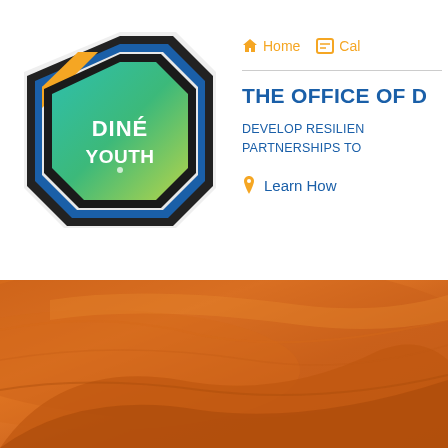[Figure (logo): Diné Youth octagon logo with teal/green gradient interior, orange, blue, and dark layered border rings, white text reading DINÉ YOUTH]
Home  Cal
THE OFFICE OF D
DEVELOP RESILIEN
PARTNERSHIPS TO
Learn How
[Figure (photo): Warm orange-toned sandstone rock landscape photo filling the bottom portion of the page]